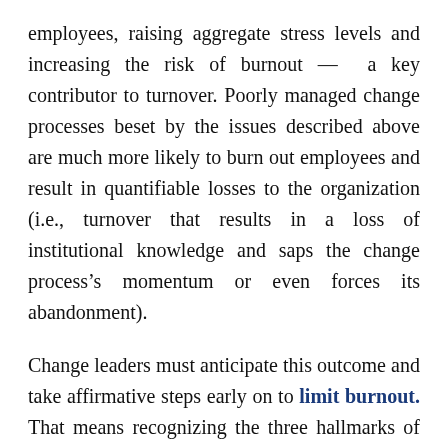employees, raising aggregate stress levels and increasing the risk of burnout — a key contributor to turnover. Poorly managed change processes beset by the issues described above are much more likely to burn out employees and result in quantifiable losses to the organization (i.e., turnover that results in a loss of institutional knowledge and saps the change process's momentum or even forces its abandonment).
Change leaders must anticipate this outcome and take affirmative steps early on to limit burnout. That means recognizing the three hallmarks of burnout in employees: exhaustion, cynicism, and inefficacy. These conditions are all reversible when recognized and redirected early, but that's often easier said than done in the midst of a high-stakes organizational change. True change leaders must be ready to subordinate the